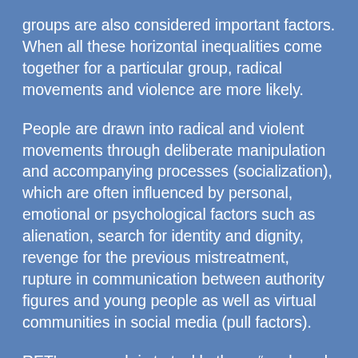groups are also considered important factors. When all these horizontal inequalities come together for a particular group, radical movements and violence are more likely.
People are drawn into radical and violent movements through deliberate manipulation and accompanying processes (socialization), which are often influenced by personal, emotional or psychological factors such as alienation, search for identity and dignity, revenge for the previous mistreatment, rupture in communication between authority figures and young people as well as virtual communities in social media (pull factors).
RET’s approach is to tackle these “push and pull” factors simultaneously. To this extent, RET